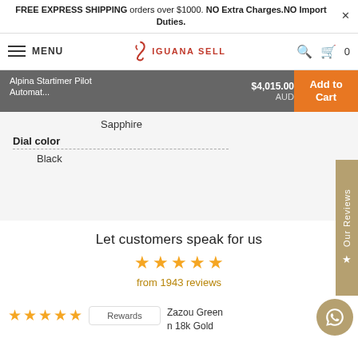FREE EXPRESS SHIPPING orders over $1000. NO Extra Charges.NO Import Duties.
[Figure (screenshot): Iguana Sell navigation bar with hamburger menu, logo, search and cart icons]
Alpina Startimer Pilot Automat...   $4,015.00 AUD   Add to Cart
Sapphire
Dial color
Black
Let customers speak for us
from 1943 reviews
Zazou Green n 18k Gold